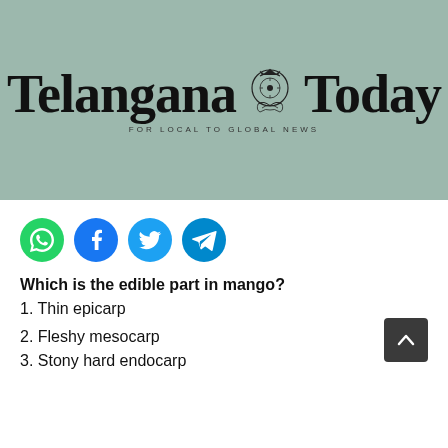[Figure (logo): Telangana Today newspaper logo on a sage green background with emblem between 'Telangana' and 'Today', tagline 'FOR LOCAL TO GLOBAL NEWS']
[Figure (infographic): Four social media share icons: WhatsApp (green), Facebook (dark blue), Twitter (light blue), Telegram (blue)]
Which is the edible part in mango?
1. Thin epicarp
2. Fleshy mesocarp
3. Stony hard endocarp